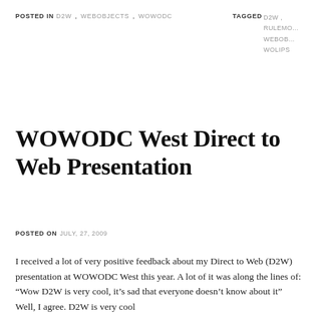POSTED IN D2W , WEBOBJECTS , WOWODC TAGGED D2W , RULEMO... WEBOB... WOLIPS
WOWODC West Direct to Web Presentation
POSTED ON JULY, 27, 2009
I received a lot of very positive feedback about my Direct to Web (D2W) presentation at WOWODC West this year. A lot of it was along the lines of: “Wow D2W is very cool, it’s sad that everyone doesn’t know about it” Well, I agree. D2W is very cool